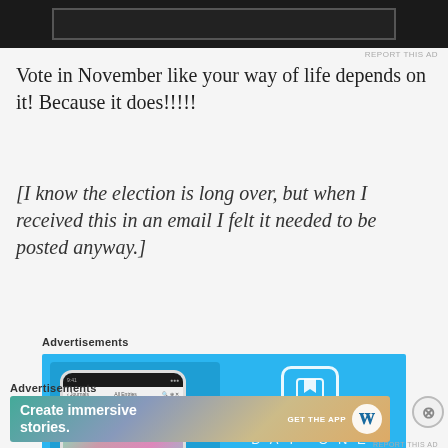[Figure (screenshot): Dark advertisement banner at the top of the page]
Vote in November like your way of life depends on it! Because it does!!!!!
[I know the election is long over, but when I received this in an email I felt it needed to be posted anyway.]
Advertisements
[Figure (photo): DayOne journal app advertisement with blue background showing a phone screenshot and DayOne logo with tagline 'Your Journal for life']
Advertisements
[Figure (screenshot): WordPress advertisement: Create immersive stories. GET THE APP with WordPress logo]